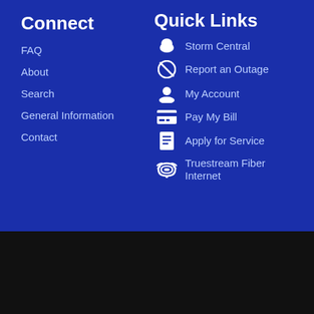Connect
FAQ
About
Search
General Information
Contact
Quick Links
Storm Central
Report an Outage
My Account
Pay My Bill
Apply for Service
Truestream Fiber Internet
© ALL RIGHTS RESERVED GREAT LAKES ENERGY COOPERATIVE
WEBSITE BY: THRIVEPOP